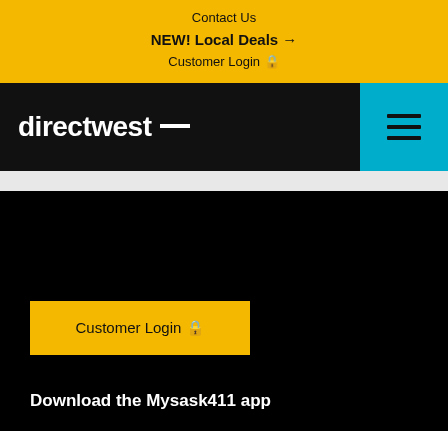Contact Us
NEW! Local Deals →
Customer Login 🔒
[Figure (logo): directwest logo with white text and white dash on black background, with cyan hamburger menu button on the right]
Customer Login 🔒
Download the Mysask411 app